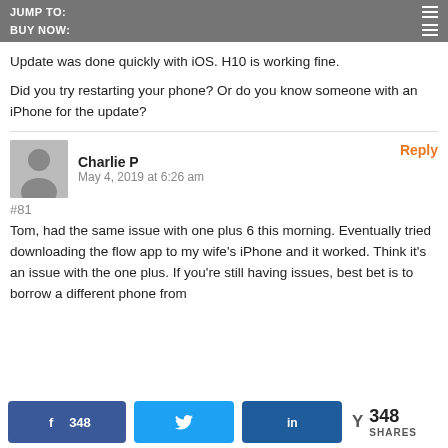JUMP TO:
BUY NOW:
Update was done quickly with iOS. H10 is working fine.
Did you try restarting your phone? Or do you know someone with an iPhone for the update?
Charlie P
May 4, 2019 at 6:26 am
#81
Tom, had the same issue with one plus 6 this morning. Eventually tried downloading the flow app to my wife's iPhone and it worked. Think it's an issue with the one plus. If you're still having issues, best bet is to borrow a different phone from
348
348 SHARES